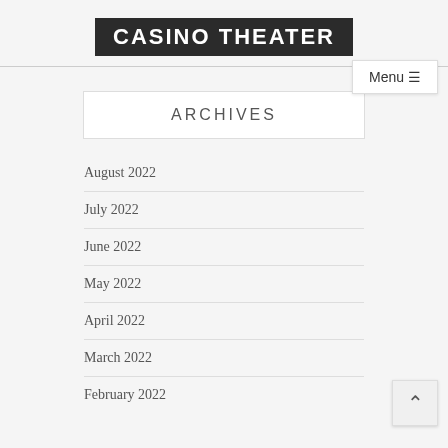CASINO THEATER
ARCHIVES
August 2022
July 2022
June 2022
May 2022
April 2022
March 2022
February 2022